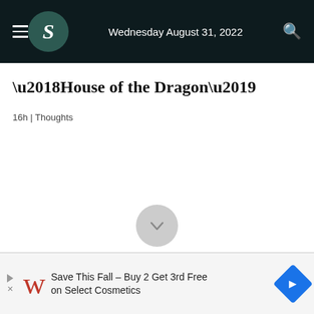Wednesday August 31, 2022
'House of the Dragon'
16h | Thoughts
[Figure (screenshot): Walgreens advertisement banner: Save This Fall – Buy 2 Get 3rd Free on Select Cosmetics]